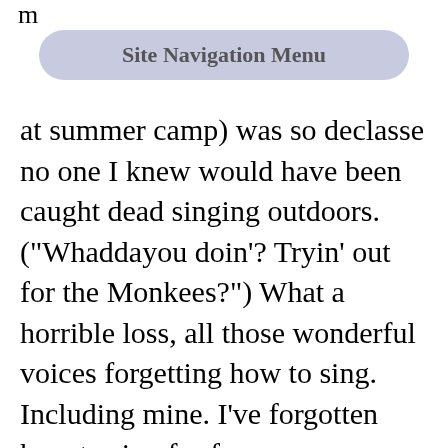m
Site Navigation Menu
at summer camp) was so declasse no one I knew would have been caught dead singing outdoors. ("Whaddayou doin'? Tryin' out for the Monkees?") What a horrible loss, all those wonderful voices forgetting how to sing. Including mine. I've forgotten how to sing for fun.